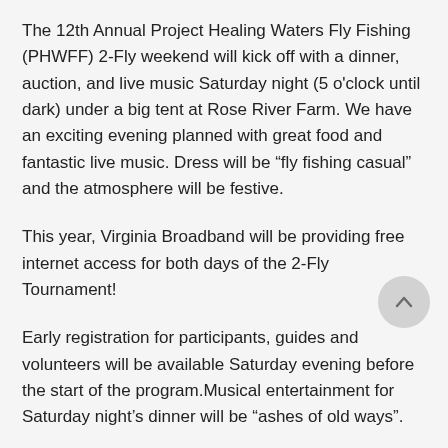The 12th Annual Project Healing Waters Fly Fishing (PHWFF) 2-Fly weekend will kick off with a dinner, auction, and live music Saturday night (5 o'clock until dark) under a big tent at Rose River Farm. We have an exciting evening planned with great food and fantastic live music. Dress will be “fly fishing casual” and the atmosphere will be festive.
This year, Virginia Broadband will be providing free internet access for both days of the 2-Fly Tournament!
Early registration for participants, guides and volunteers will be available Saturday evening before the start of the program.Musical entertainment for Saturday night’s dinner will be “ashes of old ways”.
Corporate table sponsorships are still available for